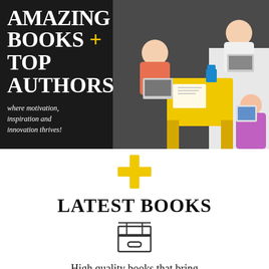[Figure (photo): Dark background banner with large white bold serif text: AMAZING BOOKS + TOP AUTHORS, yellow plus sign, italic tagline 'where motivation, inspiration and innovation thrives!', overlaid on a photo of people working on laptops around a yellow table]
[Figure (illustration): Yellow plus sign symbol centered on white background]
LATEST BOOKS
[Figure (illustration): Line-art icon of a box/book container]
High quality books that bring